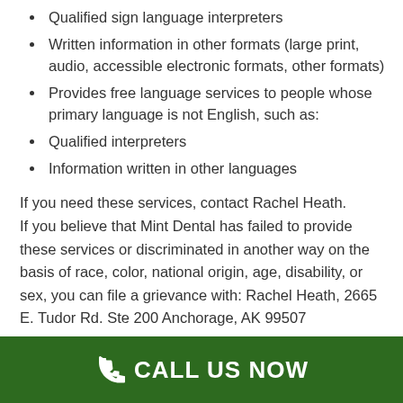Qualified sign language interpreters
Written information in other formats (large print, audio, accessible electronic formats, other formats)
Provides free language services to people whose primary language is not English, such as:
Qualified interpreters
Information written in other languages
If you need these services, contact Rachel Heath. If you believe that Mint Dental has failed to provide these services or discriminated in another way on the basis of race, color, national origin, age, disability, or sex, you can file a grievance with: Rachel Heath, 2665 E. Tudor Rd. Ste 200 Anchorage, AK 99507
CALL US NOW